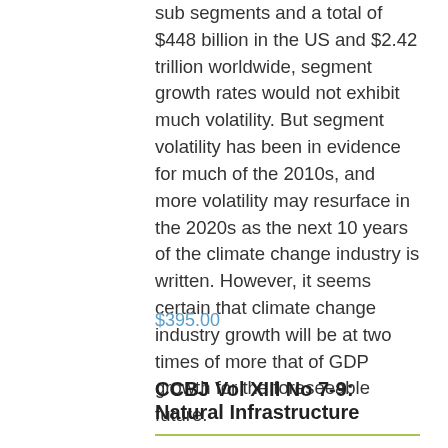sub segments and a total of $448 billion in the US and $2.42 trillion worldwide, segment growth rates would not exhibit much volatility. But segment volatility has been in evidence for much of the 2010s, and more volatility may resurface in the 2020s as the next 10 years of the climate change industry is written. However, it seems certain that climate change industry growth will be at two times of more that of GDP growth for the foreseeable future.
$395.00
CCBJ Vol XIII No 7-9: Natural Infrastructure